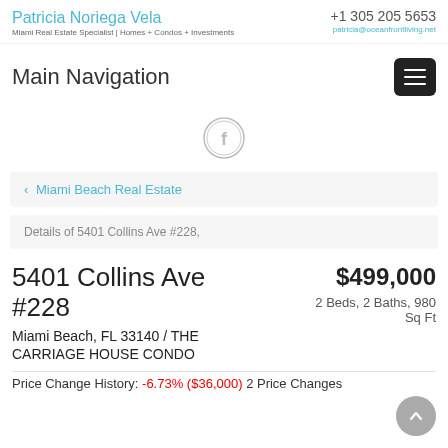Patricia Noriega Vela | Miami Real Estate Specialist | Homes + Condos + Investments | +1 305 205 5653 | patricia@oceanfrontliving.net
Main Navigation
[Figure (logo): Facebook circle icon]
< Miami Beach Real Estate
Details of 5401 Collins Ave #228,
5401 Collins Ave #228
$499,000
Miami Beach, FL 33140 / THE CARRIAGE HOUSE CONDO
2 Beds, 2 Baths, 980 Sq Ft
Price Change History: -6.73% ($36,000) 2 Price Changes